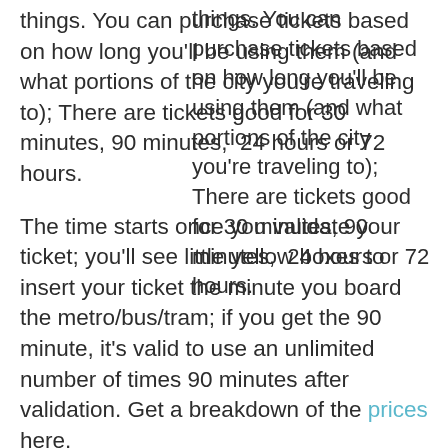things. You can purchase tickets based on how long you'll be using them (and what portions of the city you're traveling to); There are tickets good for 30 minutes, 90 minutes,  24 hours or 72 hours.
The time starts once you validate your ticket; you'll see little yellow boxes to insert your ticket the minute you board the metro/bus/tram; if you get the 90 minute, it's valid to use an unlimited number of times 90 minutes after validation. Get a breakdown of the prices here.
You need to buy a ticket before you board a metro, tram or bus. You can